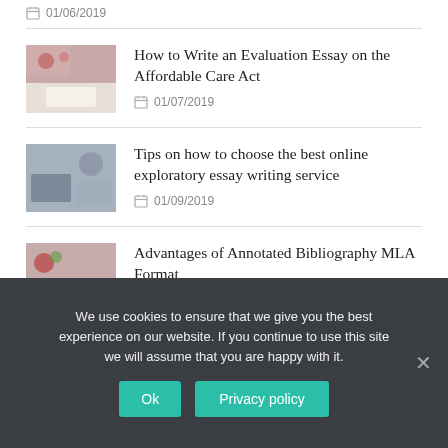01/06/2019
[Figure (photo): Thumbnail image for blog post about evaluation essay on Affordable Care Act]
How to Write an Evaluation Essay on the Affordable Care Act
01/07/2019
[Figure (photo): Thumbnail image for blog post about exploratory essay writing service]
Tips on how to choose the best online exploratory essay writing service
01/09/2019
[Figure (photo): Thumbnail image for blog post about annotated bibliography MLA format]
Advantages of Annotated Bibliography MLA Format
We use cookies to ensure that we give you the best experience on our website. If you continue to use this site we will assume that you are happy with it.